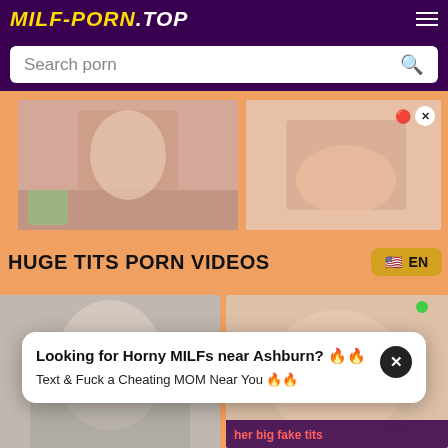MILF-PORN.TOP
Search porn
[Figure (photo): Two adult content thumbnail images in a row]
HUGE TITS PORN VIDEOS
EN
[Figure (photo): Two adult content thumbnail images in a second row]
Looking for Horny MILFs near Ashburn? 🔥🔥 Text & Fuck a Cheating MOM Near You 🔥🔥
her big fake tits